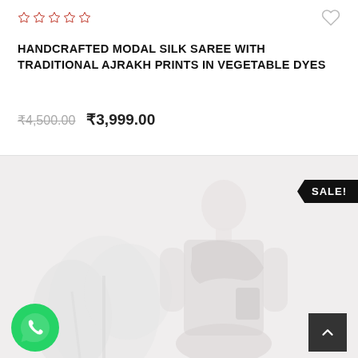☆☆☆☆☆ (star rating, unrated)
HANDCRAFTED MODAL SILK SAREE WITH TRADITIONAL AJRAKH PRINTS IN VEGETABLE DYES
₹4,500.00  ₹3,999.00
[Figure (photo): Model wearing a saree, with a plant in the background. SALE! badge in top-right corner. WhatsApp chat button bottom-left. Back-to-top arrow button bottom-right.]